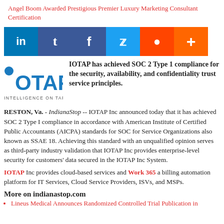Angel Boom Awarded Prestigious Premier Luxury Marketing Consultant Certification
[Figure (other): Social sharing buttons bar: LinkedIn (blue), Tumblr (dark blue), Facebook (dark blue), Twitter (blue), Reddit (orange), Plus (orange)]
[Figure (logo): IOTAP logo with text 'INTELLIGENCE ON TAP' below]
IOTAP has achieved SOC 2 Type 1 compliance for the security, availability, and confidentiality trust service principles.
RESTON, Va. - IndianaStop -- IOTAP Inc announced today that it has achieved SOC 2 Type I compliance in accordance with American Institute of Certified Public Accountants (AICPA) standards for SOC for Service Organizations also known as SSAE 18. Achieving this standard with an unqualified opinion serves as third-party industry validation that IOTAP Inc provides enterprise-level security for customers' data secured in the IOTAP Inc System.
IOTAP Inc provides cloud-based services and Work 365 a billing automation platform for IT Services, Cloud Service Providers, ISVs, and MSPs.
More on indianastop.com
Lineus Medical Announces Randomized Controlled Trial Publication in